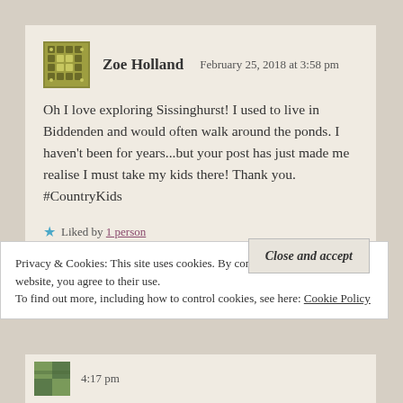Zoe Holland   February 25, 2018 at 3:58 pm
Oh I love exploring Sissinghurst! I used to live in Biddenden and would often walk around the ponds. I haven't been for years...but your post has just made me realise I must take my kids there! Thank you. #CountryKids
★ Liked by 1 person
Privacy & Cookies: This site uses cookies. By continuing to use this website, you agree to their use.
To find out more, including how to control cookies, see here: Cookie Policy
Close and accept
4:17 pm